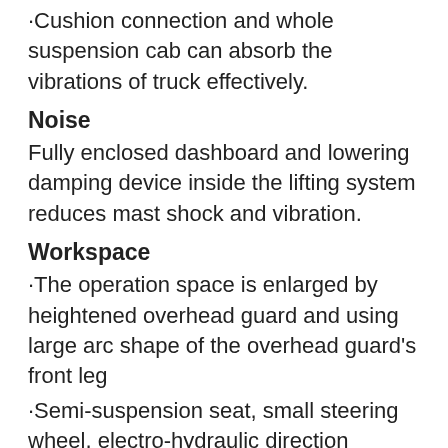·Cushion connection and whole suspension cab can absorb the vibrations of truck effectively.
Noise
Fully enclosed dashboard and lowering damping device inside the lifting system reduces mast shock and vibration.
Workspace
·The operation space is enlarged by heightened overhead guard and using large arc shape of the overhead guard's front leg
·Semi-suspension seat, small steering wheel, electro-hydraulic direction changing and automobile type double combined switch effectively improve